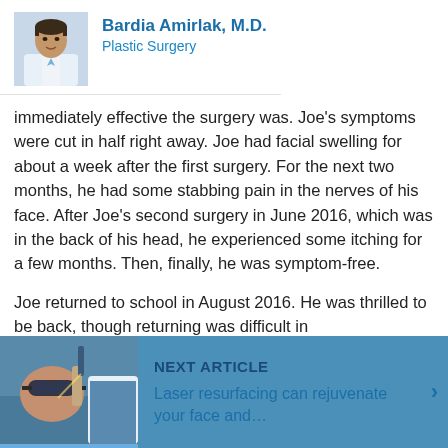[Figure (photo): Headshot of Dr. Bardia Amirlak, M.D., a male doctor in a white coat]
Bardia Amirlak, M.D.
Plastic Surgery
immediately effective the surgery was. Joe's symptoms were cut in half right away. Joe had facial swelling for about a week after the first surgery. For the next two months, he had some stabbing pain in the nerves of his face. After Joe's second surgery in June 2016, which was in the back of his head, he experienced some itching for a few months. Then, finally, he was symptom-free.
Joe returned to school in August 2016. He was thrilled to be back, though returning was difficult in
[Figure (photo): Photo of a woman receiving laser facial treatment from a doctor]
NEXT ARTICLE
Laser resurfacing can rejuvenate your face and...